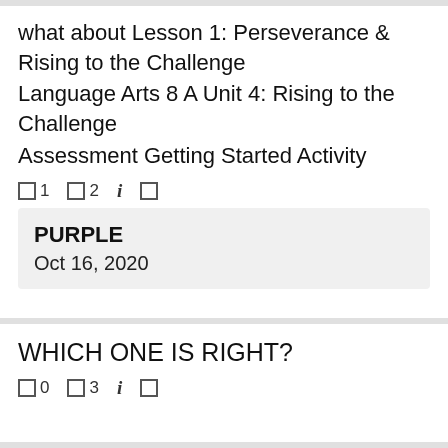what about Lesson 1: Perseverance & Rising to the Challenge
Language Arts 8 A Unit 4: Rising to the Challenge
Assessment Getting Started Activity
□ 1   □ 2   i   □
PURPLE
Oct 16, 2020
WHICH ONE IS RIGHT?
□ 0   □ 3   i   □